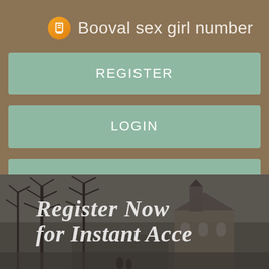Booval sex girl number
REGISTER
LOGIN
CONTACT US
[Figure (screenshot): Background image of bare winter trees and a church building with overlaid text reading 'Register Now for Instant Access']